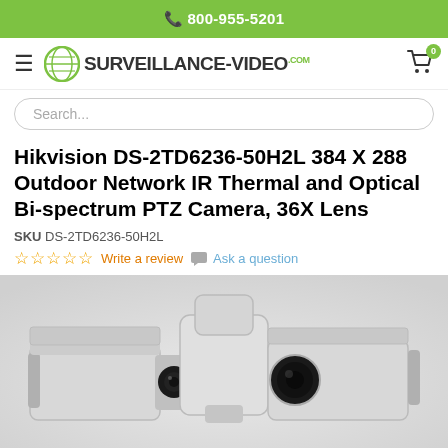800-955-5201
[Figure (logo): Surveillance-Video.com logo with globe icon and shopping cart]
Search...
Hikvision DS-2TD6236-50H2L 384 X 288 Outdoor Network IR Thermal and Optical Bi-spectrum PTZ Camera, 36X Lens
SKU DS-2TD6236-50H2L
☆☆☆☆☆ Write a review  Ask a question
[Figure (photo): Hikvision DS-2TD6236-50H2L bi-spectrum PTZ camera product photo showing two camera modules on a mounting bracket]